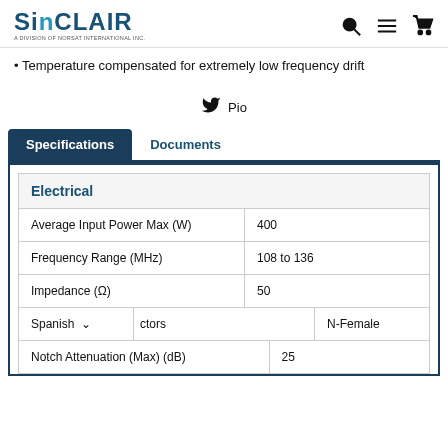SiNCLAIR — A Division of Norsat International Inc.
Temperature compensated for extremely low frequency drift
Pio
| Parameter | Value |
| --- | --- |
| Average Input Power Max (W) | 400 |
| Frequency Range (MHz) | 108 to 136 |
| Impedance (Ω) | 50 |
| Connectors | N-Female |
| Notch Attenuation (Max) (dB) | 25 |